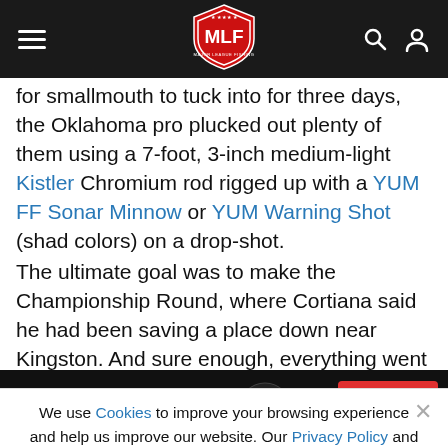MLF Major League Fishing navigation bar
for smallmouth to tuck into for three days, the Oklahoma pro plucked out plenty of them using a 7-foot, 3-inch medium-light Kistler Chromium rod rigged up with a YUM FF Sonar Minnow or YUM Warning Shot (shad colors) on a drop-shot.
The ultimate goal was to make the Championship Round, where Cortiana said he had been saving a place down near Kingston. And sure enough, everything went according to plan
We use Cookies to improve your browsing experience and help us improve our website. Our Privacy Policy and Terms of Service have changed. Click OK to agree.
[Figure (logo): Abu Garcia MAX SERIES advertisement banner with red Learn More button and reel image]